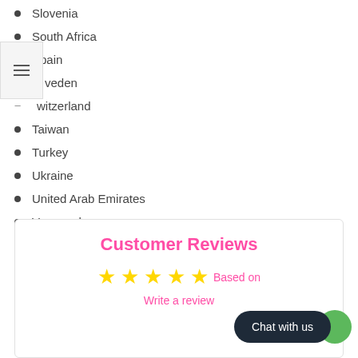Slovenia
South Africa
Spain
Sweden
Switzerland
Taiwan
Turkey
Ukraine
United Arab Emirates
Venezuela
Gibraltar
Customer Reviews
Based on
Write a review